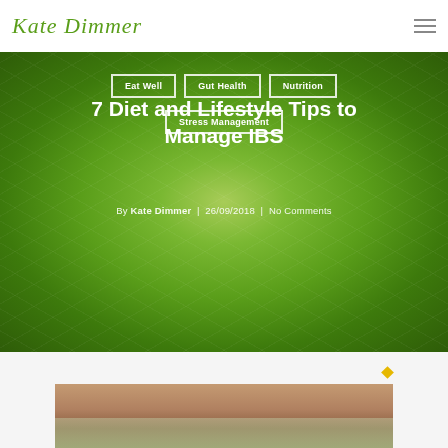Kate Dimmer
Eat Well
Gut Health
Nutrition
Stress Management
7 Diet and Lifestyle Tips to Manage IBS
By Kate Dimmer | 26/09/2018 | No Comments
[Figure (photo): Close-up of a sliced lime/citrus fruit, green tones, used as hero background image]